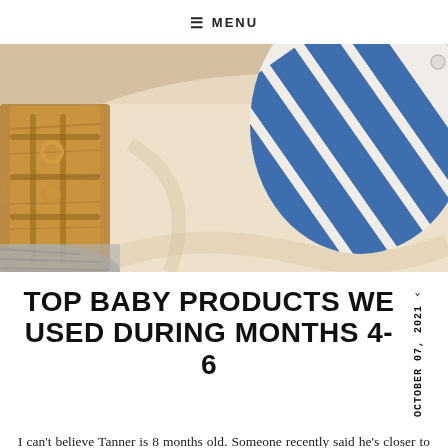≡ MENU
[Figure (photo): Close-up photo of baby items on a white fabric surface: a wooden toy/rack on the left, and a blue and white striped onesie/garment on the right.]
TOP BABY PRODUCTS WE USED DURING MONTHS 4-6
OCTOBER 07, 2021
I can't believe Tanner is 8 months old. Someone recently said he's closer to one than he is to being a newborn and that made me nostalgic. Time is